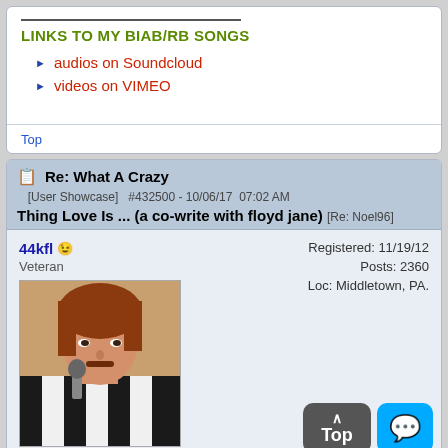LINKS TO MY BIAB/RB SONGS
audios on Soundcloud
videos on VIMEO
Top
Re: What A Crazy Thing Love Is ... (a co-write with floyd jane) [User Showcase] #432500 - 10/06/17 07:02 AM [Re: Noel96]
44kfl
Veteran
Registered: 11/19/12
Posts: 2360
Loc: Middletown, PA.
[Figure (photo): Avatar photo of user 44kfl — person with reddish hair in a black and white striped jacket, holding a microphone]